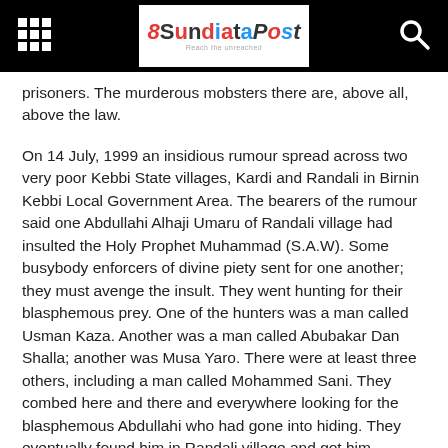8SundiataPost
prisoners. The murderous mobsters there are, above all, above the law.
On 14 July, 1999 an insidious rumour spread across two very poor Kebbi State villages, Kardi and Randali in Birnin Kebbi Local Government Area. The bearers of the rumour said one Abdullahi Alhaji Umaru of Randali village had insulted the Holy Prophet Muhammad (S.A.W). Some busybody enforcers of divine piety sent for one another; they must avenge the insult. They went hunting for their blasphemous prey. One of the hunters was a man called Usman Kaza. Another was a man called Abubakar Dan Shalla; another was Musa Yaro. There were at least three others, including a man called Mohammed Sani. They combed here and there and everywhere looking for the blasphemous Abdullahi who had gone into hiding. They eventually found him in Randali village and got him arrested. The prey was dragged to a spot near the burial ground on the outskirts of Kardi village. Abdullahi was kept there in the custody